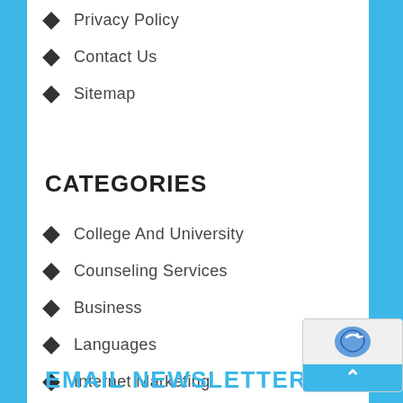Privacy Policy
Contact Us
Sitemap
CATEGORIES
College And University
Counseling Services
Business
Languages
Internet Marketing
EMAIL NEWSLETTERS